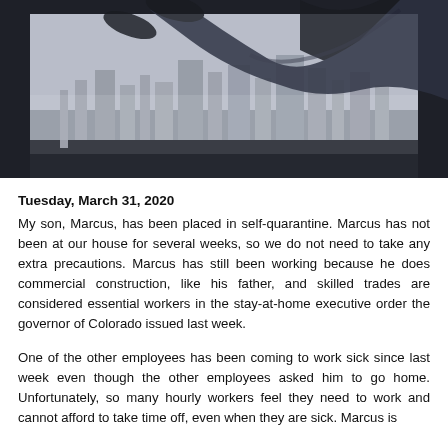[Figure (photo): A person (partially visible, legs crossed) sitting on a window ledge looking out over a city skyline. The scene is moody and desaturated, with a wide window in the background.]
Tuesday, March 31, 2020
My son, Marcus, has been placed in self-quarantine. Marcus has not been at our house for several weeks, so we do not need to take any extra precautions. Marcus has still been working because he does commercial construction, like his father, and skilled trades are considered essential workers in the stay-at-home executive order the governor of Colorado issued last week.
One of the other employees has been coming to work sick since last week even though the other employees asked him to go home. Unfortunately, so many hourly workers feel they need to work and cannot afford to take time off, even when they are sick. Marcus is